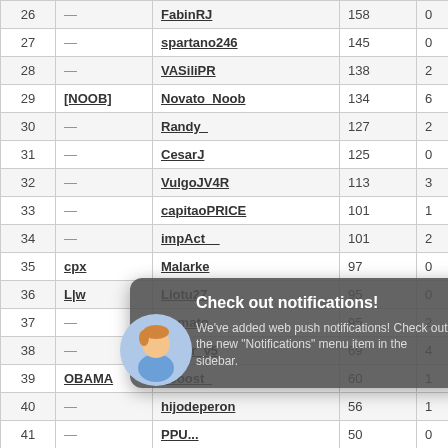| # | Clan | Player | Score | W | L |
| --- | --- | --- | --- | --- | --- |
| 26 | — | FabinRJ | 158 | 0 | 7 |
| 27 | — | spartano246 | 145 | 0 | 4 |
| 28 | — | VASiliPR | 138 | 2 | 2 |
| 29 | [NOOB] | Novato_Noob | 134 | 6 | 4 |
| 30 | — | Randy_ | 127 | 2 | 5 |
| 31 | — | CesarJ | 125 | 0 | 7 |
| 32 | — | VulgoJV4R | 113 | 3 | 7 |
| 33 | — | capitaoPRICE | 101 | 1 | 4 |
| 34 | — | impAct__ | 101 | 2 | 4 |
| 35 | cpx | Malarke | 97 | 0 | 4 |
| 36 | L|w | Liotu27 | 95 | 0 | 4 |
| 37 | — | Damato | 95 | 2 | 10 |
| 38 | — | lector_v5 | 69 | 4 | 4 |
| 39 | OBAMA | Looost_ | 60 | 1 | 3 |
| 40 | — | hijodeperon | 56 | 1 | 1 |
| 41 | — | PPU... | 50 | 0 | 4 |